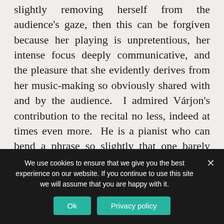slightly removing herself from the audience's gaze, then this can be forgiven because her playing is unpretentious, her intense focus deeply communicative, and the pleasure that she evidently derives from her music-making so obviously shared with and by the audience. I admired Várjon's contribution to the recital no less, indeed at times even more. He is a pianist who can bend a phrase so slightly that one barely notices the nuance but still registers its effect; the clarity of his articulation and balancing of the piano's voices is second to none; he is not afraid to take risks, but one is assured of his consummate control at all times.
We use cookies to ensure that we give you the best experience on our website. If you continue to use this site we will assume that you are happy with it.